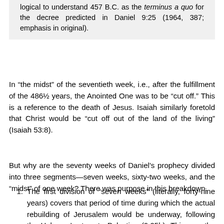logical to understand 457 B.C. as the terminus a quo for the decree predicted in Daniel 9:25 (1964, 387; emphasis in original).
In “the midst” of the seventieth week, i.e., after the fulfillment of the 486½ years, the Anointed One was to be “cut off.” This is a reference to the death of Jesus. Isaiah similarly foretold that Christ would be “cut off out of the land of the living” (Isaiah 53:8).
But why are the seventy weeks of Daniel’s prophecy divided into three segments—seven weeks, sixty-two weeks, and the “midst” of one week? There was purpose in this breakdown.
The first division of “seven weeks” (literally, forty-nine years) covers that period of time during which the actual rebuilding of Jerusalem would be underway, following the Hebrews’ return to Palestine (9:25b). This was the answer to Daniel’s prayer (9:16). That